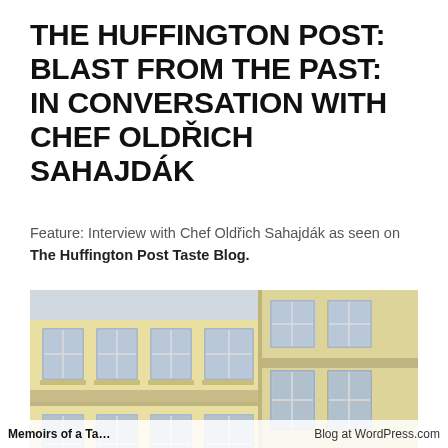THE HUFFINGTON POST: BLAST FROM THE PAST: IN CONVERSATION WITH CHEF OLDŘICH SAHAJDÁK
Feature: Interview with Chef Oldřich Sahajdák as seen on The Huffington Post Taste Blog.
[Figure (photo): Exterior corner view of a cream/yellow European-style building with multiple windows arranged symmetrically on upper floors.]
Memoirs of a Ta...   Blog at WordPress.com